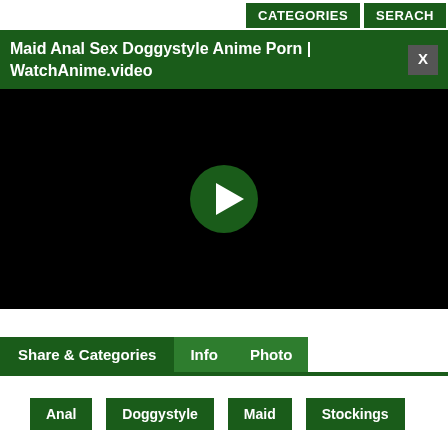CATEGORIES   SERACH
Maid Anal Sex Doggystyle Anime Porn | WatchAnime.video
[Figure (screenshot): Black video player area with a green circular play button in the center]
Share & Categories   Info   Photo
Anal
Doggystyle
Maid
Stockings